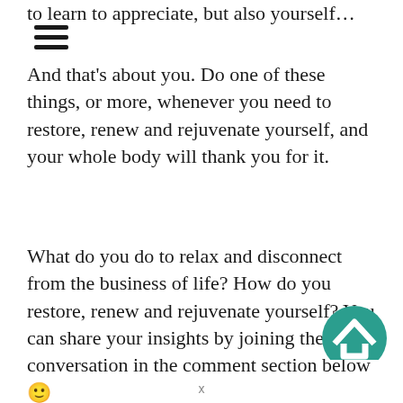to learn to appreciate, but also yourself…
[Figure (other): Hamburger menu icon (three horizontal lines)]
And that's about you. Do one of these things, or more, whenever you need to restore, renew and rejuvenate yourself, and your whole body will thank you for it.
What do you do to relax and disconnect from the business of life? How do you restore, renew and rejuvenate yourself? You can share your insights by joining the conversation in the comment section below 🙂
[Figure (logo): Teal/green circular logo with a house/chevron icon, partially visible at bottom right]
X